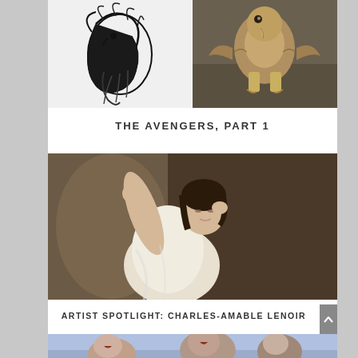[Figure (illustration): Top-left: black ink sketch of a bird with dramatic swooping feathers on white background]
[Figure (illustration): Top-right: realistic painting or digital art of a hawk or falcon perched, with detailed feathers, golden-brown tones]
THE AVENGERS, PART 1
[Figure (photo): Large center image: classical or digital painting of a young woman with dark hair, arm raised, wearing a light flowing garment, pensive expression, romantic academic style]
ARTIST SPOTLIGHT: CHARLES-AMABLE LENOIR
[Figure (illustration): Bottom image: fantasy digital art showing grotesque goblin or troll creatures with an elderly man, blue sky background]